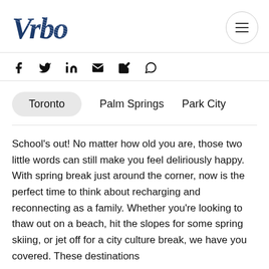Vrbo
[Figure (infographic): Social sharing icons: Facebook, Twitter, LinkedIn, Email, Edit/Pencil, WhatsApp]
Toronto
Palm Springs
Park City
School's out! No matter how old you are, those two little words can still make you feel deliriously happy. With spring break just around the corner, now is the perfect time to think about recharging and reconnecting as a family. Whether you're looking to thaw out on a beach, hit the slopes for some spring skiing, or jet off for a city culture break, we have you covered. These destinations